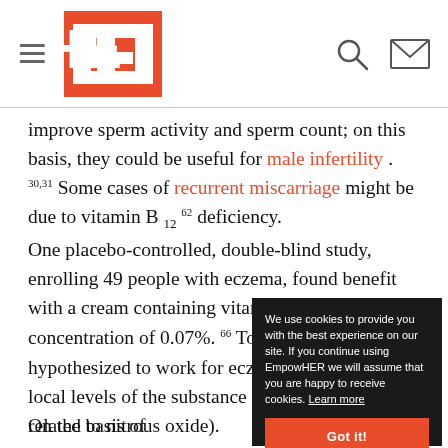HER (logo with hamburger, search, mail icons)
improve sperm activity and sperm count; on this basis, they could be useful for male infertility.^30,31 Some cases of recurrent miscarriage might be due to vitamin B12 deficiency.^62
One placebo-controlled, double-blind study, enrolling 49 people with eczema, found benefit with a cream containing vitamin B12 at a concentration of 0.07%.^66 Topical B12 is hypothesized to work for eczema by reducing local levels of the substance nitric oxide (not related to nitrous oxide).
On the basis of evidence, vitamin
^37 amyotrophic l...
^67 diabetic neuro...
^45 restless legs s...
[Figure (screenshot): Cookie consent overlay with dark background. Text: 'We use cookies to provide you with the best experience on our site. If you continue using EmpowHER we will assume that you are happy to receive cookies. Learn more'. Orange 'Got it!' button.]